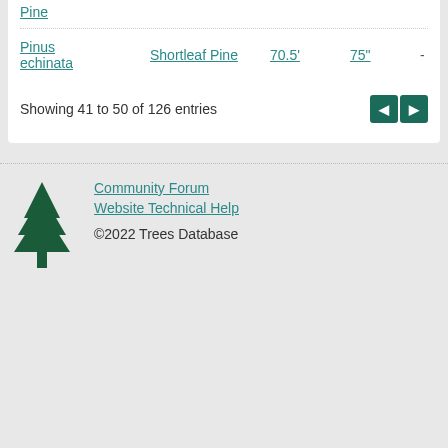Pine
| Scientific Name | Common Name | Height | Spread |  |
| --- | --- | --- | --- | --- |
| Pinus echinata | Shortleaf Pine | 70.5' | 75' | - |
Showing 41 to 50 of 126 entries
Community Forum
Website Technical Help
©2022 Trees Database